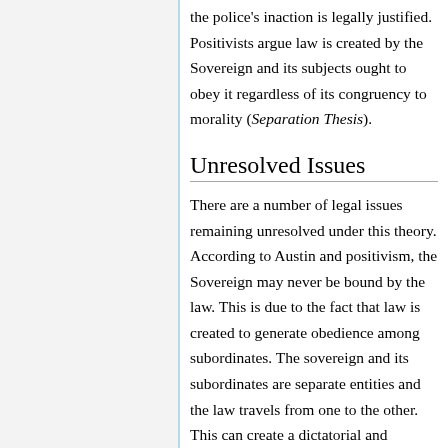the police's inaction is legally justified. Positivists argue law is created by the Sovereign and its subjects ought to obey it regardless of its congruency to morality (Separation Thesis).
Unresolved Issues
There are a number of legal issues remaining unresolved under this theory. According to Austin and positivism, the Sovereign may never be bound by the law. This is due to the fact that law is created to generate obedience among subordinates. The sovereign and its subordinates are separate entities and the law travels from one to the other. This can create a dictatorial and oppressive state that, nonetheless, is valid under this theory.